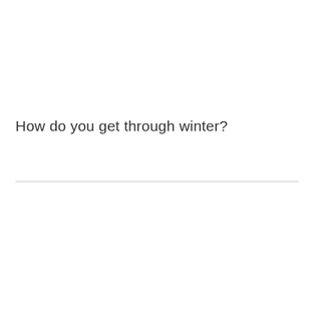How do you get through winter?